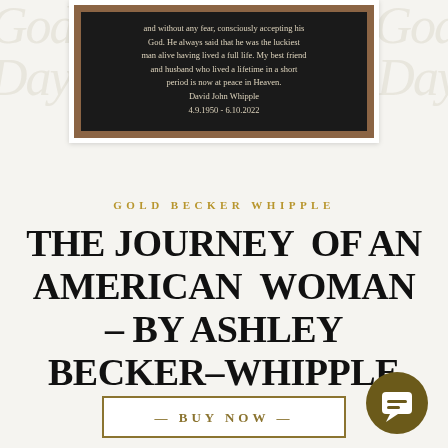[Figure (photo): A framed dark/black quote panel with text about David John Whipple, dates 4.9.1950 - 6.10.2022, with a brown wooden border, on a white card background.]
and without any fear, consciously accepting his God. He always said that he was the luckiest man alive having lived a full life. My best friend and husband who lived a lifetime in a short period is now at peace in Heaven. David John Whipple 4.9.1950 - 6.10.2022
GOLD BECKER WHIPPLE
THE JOURNEY OF AN AMERICAN WOMAN - BY ASHLEY BECKER-WHIPPLE
— BUY NOW —